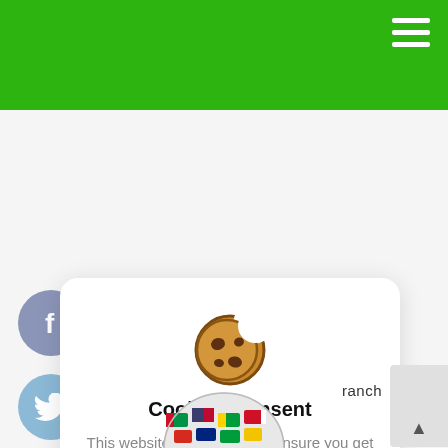[Figure (screenshot): Green navigation header bar at the top of a website]
[Figure (infographic): Cookie consent modal popup with cookie emoji icon, title 'Cookies Consent', description text, 'I understand' button and 'Privacy Policy' link. Social sharing buttons (Facebook, Twitter, WhatsApp, close) on the left side.]
Cookies Consent
This website use cookies to ensure you get the best experience on our website.
I understand
Privacy Policy